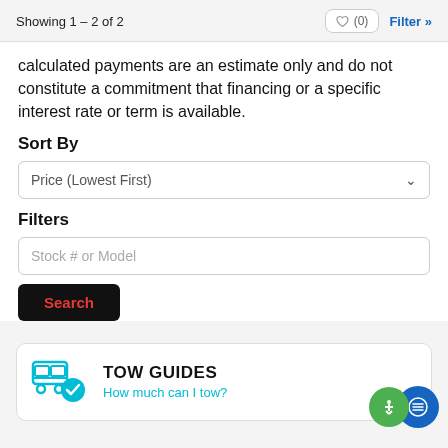Showing 1 – 2 of 2
calculated payments are an estimate only and do not constitute a commitment that financing or a specific interest rate or term is available.
Sort By
Price (Lowest First)
Filters
Stock # or Model
Search
TOW GUIDES How much can I tow?